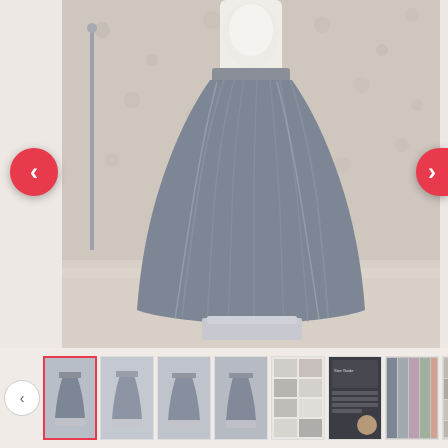[Figure (photo): E-commerce product page showing a long grey tulle maxi skirt on a mannequin, displayed in a room setting with floral wallpaper. Navigation arrows on left and right sides of main image. Below is a thumbnail strip with 8 product thumbnails and navigation arrows.]